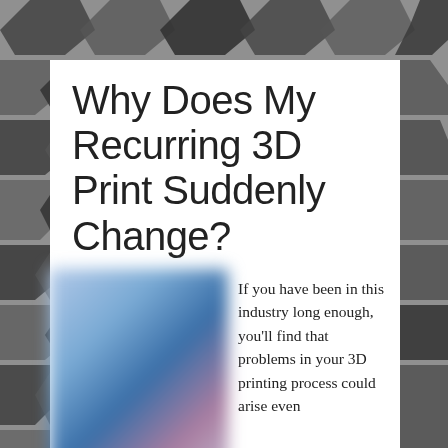[Figure (photo): Background image with black and grey pentagon/hexagon shapes arranged in a pattern on a grey background]
Why Does My Recurring 3D Print Suddenly Change?
[Figure (photo): Blurred image, appears to show a 3D printed object with blue and purple tones, heavily blurred]
If you have been in this industry long enough, you'll find that problems in your 3D printing process could arise even when you've done it numerous times